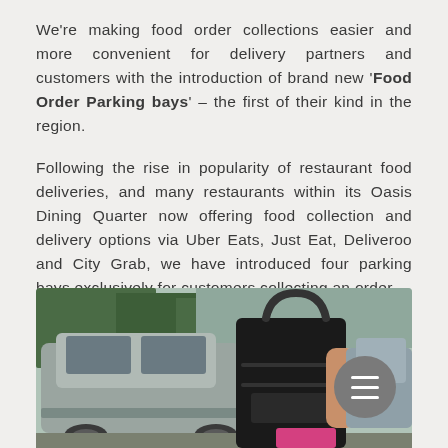We're making food order collections easier and more convenient for delivery partners and customers with the introduction of brand new 'Food Order Parking bays' – the first of their kind in the region.
Following the rise in popularity of restaurant food deliveries, and many restaurants within its Oasis Dining Quarter now offering food collection and delivery options via Uber Eats, Just Eat, Deliveroo and City Grab, we have introduced four parking bays exclusively for customers collecting an order.
[Figure (photo): Photo of a food delivery bag being retrieved from a car, with another car visible in the background in a parking area.]